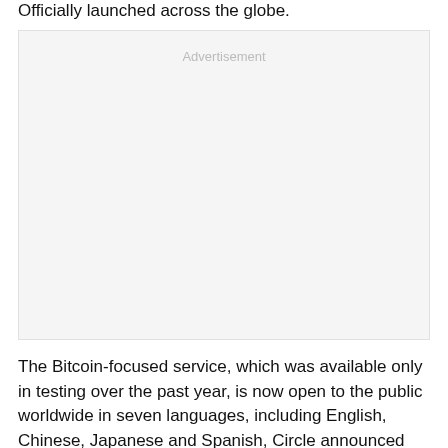Officially launched across the globe.
[Figure (other): Advertisement placeholder box with 'Advertisement' label]
The Bitcoin-focused service, which was available only in testing over the past year, is now open to the public worldwide in seven languages, including English, Chinese, Japanese and Spanish, Circle announced Monday. The company's language support